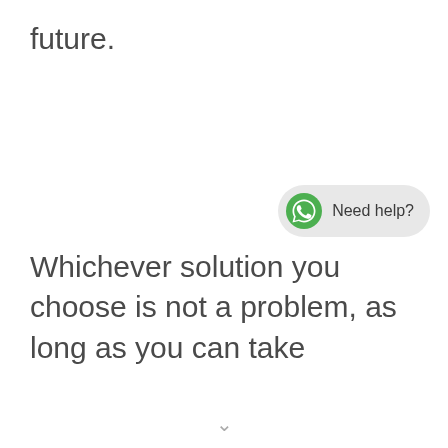future.
[Figure (other): WhatsApp chat widget button with green WhatsApp logo icon and 'Need help?' text on light grey rounded pill background]
Whichever solution you choose is not a problem, as long as you can take